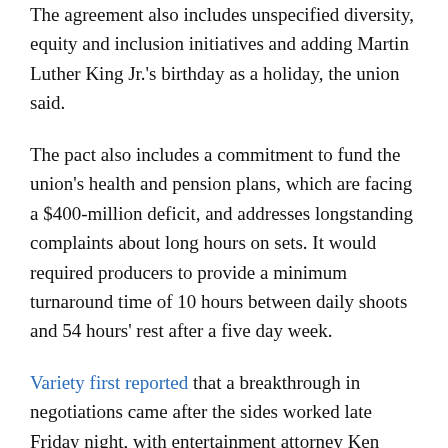The agreement also includes unspecified diversity, equity and inclusion initiatives and adding Martin Luther King Jr.'s birthday as a holiday, the union said.
The pact also includes a commitment to fund the union's health and pension plans, which are facing a $400-million deficit, and addresses longstanding complaints about long hours on sets. It would required producers to provide a minimum turnaround time of 10 hours between daily shoots and 54 hours' rest after a five day week.
Variety first reported that a breakthrough in negotiations came after the sides worked late Friday night, with entertainment attorney Ken Ziffren and senior Disney executive Peter Rice